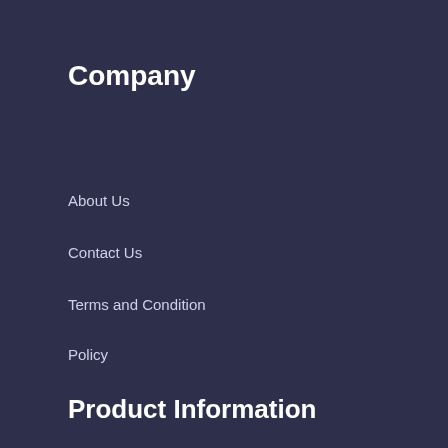Company
About Us
Contact Us
Terms and Condition
Policy
Product Information
Apple Music Converter
Apple Music Converter User Guide
Apple Music Converter Faqs
Tutorials
[Figure (illustration): A drop/teardrop shaped icon with a microphone stand at bottom, labeled 'Top' in white text, rendered in purple/lavender color — a back-to-top button widget]